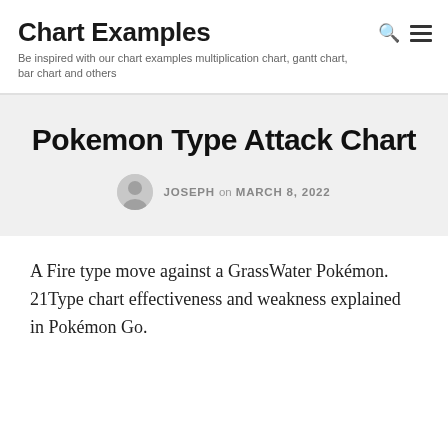Chart Examples
Be inspired with our chart examples multiplication chart, gantt chart, bar chart and others
Pokemon Type Attack Chart
JOSEPH on MARCH 8, 2022
A Fire type move against a GrassWater Pokémon. 21Type chart effectiveness and weakness explained in Pokémon Go.